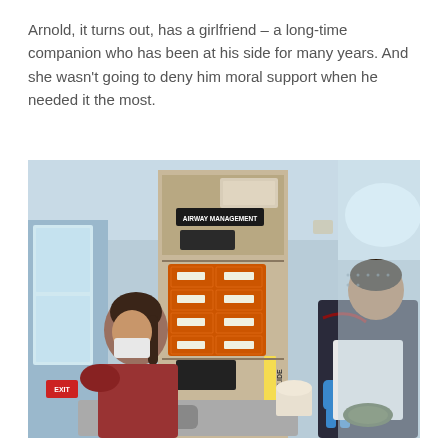Arnold, it turns out, has a girlfriend – a long-time companion who has been at his side for many years. And she wasn't going to deny him moral support when he needed it the most.
[Figure (photo): A veterinary clinical scene showing a medical cabinet labeled 'AIRWAY MANAGEMENT' with an orange multi-drawer organizer, various medical equipment, and two people in scrubs/masks working at a sink or table, one wearing a red shirt and face mask, another in dark scrubs with blue gloves.]